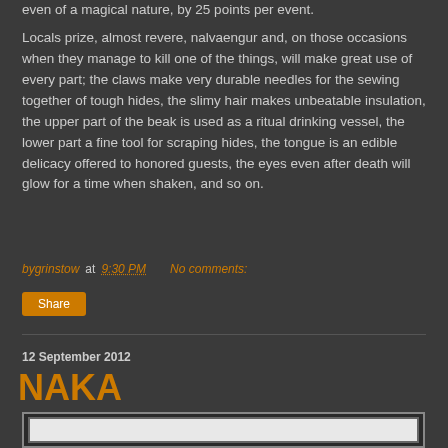even of a magical nature, by 25 points per event.
Locals prize, almost revere, nalvaengur and, on those occasions when they manage to kill one of the things, will make great use of every part; the claws make very durable needles for the sewing together of tough hides, the slimy hair makes unbeatable insulation, the upper part of the beak is used as a ritual drinking vessel, the lower part a fine tool for scraping hides, the tongue is an edible delicacy offered to honored guests, the eyes even after death will glow for a time when shaken, and so on.
bygrinstow at 9:30 PM   No comments:
Share
12 September 2012
NAKA
[Figure (other): Bordered image box, outer dark border with inner lighter border, content area appears white/light colored]